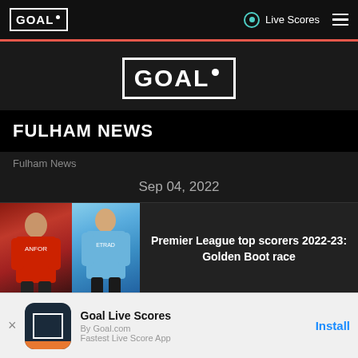GOAL - Live Scores
[Figure (logo): GOAL logo in center of dark page]
FULHAM NEWS
Fulham News
Sep 04, 2022
[Figure (photo): Article card with two football players (Salah in red Liverpool kit, Haaland in blue Man City kit) and article title text]
Premier League top scorers 2022-23: Golden Boot race
Goal Live Scores
By Goal.com
Fastest Live Score App
Install